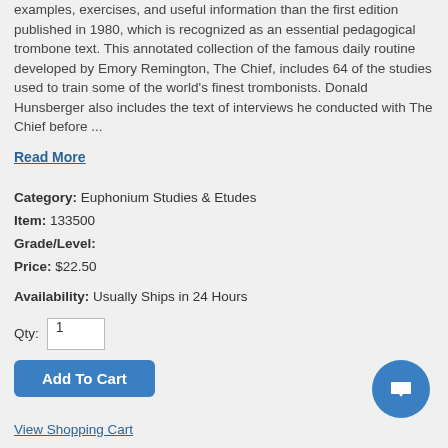examples, exercises, and useful information than the first edition published in 1980, which is recognized as an essential pedagogical trombone text. This annotated collection of the famous daily routine developed by Emory Remington, The Chief, includes 64 of the studies used to train some of the world's finest trombonists. Donald Hunsberger also includes the text of interviews he conducted with The Chief before ...
Read More
Category: Euphonium Studies & Etudes
Item: 133500
Grade/Level:
Price: $22.50
Availability: Usually Ships in 24 Hours
Qty: 1
Add To Cart
View Shopping Cart